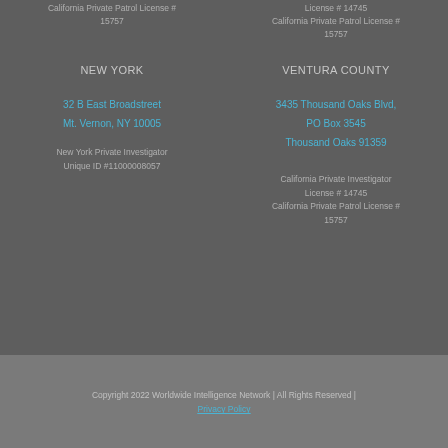California Private Patrol License # 15757
License # 14745
California Private Patrol License # 15757
NEW YORK
VENTURA COUNTY
32 B East Broadstreet
Mt. Vernon, NY 10005
3435 Thousand Oaks Blvd,
PO Box 3545
Thousand Oaks 91359
New York Private Investigator
Unique ID #11000008057
California Private Investigator
License # 14745
California Private Patrol License # 15757
Copyright 2022 Worldwide Intelligence Network | All Rights Reserved | Privacy Policy